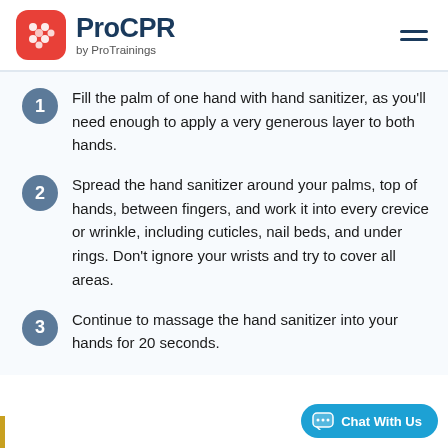ProCPR by ProTrainings
Fill the palm of one hand with hand sanitizer, as you'll need enough to apply a very generous layer to both hands.
Spread the hand sanitizer around your palms, top of hands, between fingers, and work it into every crevice or wrinkle, including cuticles, nail beds, and under rings. Don't ignore your wrists and try to cover all areas.
Continue to massage the hand sanitizer into your hands for 20 seconds.